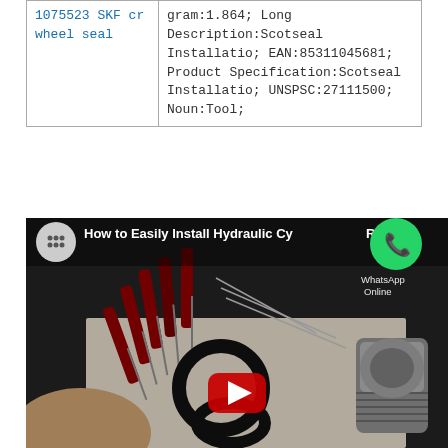| 1075523 SKF cr wheel seal | gram:1.864; Long Description:Scotseal Installatio; EAN:85311045681; Product Specification:Scotseal Installatio; UNSPSC:27111500; Noun:Tool; |
[Figure (screenshot): YouTube video thumbnail showing 'How to Easily Install Hydraulic Cy... Rod Se...' with tools/screwdrivers and hydraulic seals/O-rings on a table, WhatsApp icon overlay, red play button]